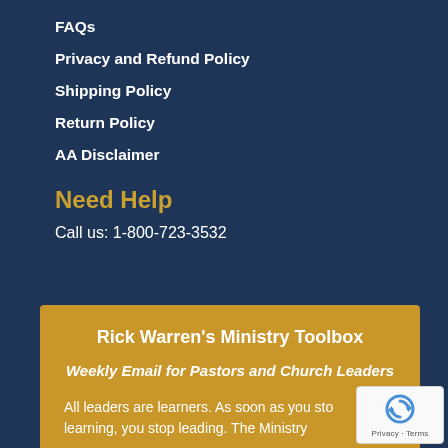FAQs
Privacy and Refund Policy
Shipping Policy
Return Policy
AA Disclaimer
Need Help
Call us: 1-800-723-3532
Rick Warren's Ministry Toolbox
Weekly Email for Pastors and Church Leaders
All leaders are learners. As soon as you stop learning, you stop leading. The Ministry